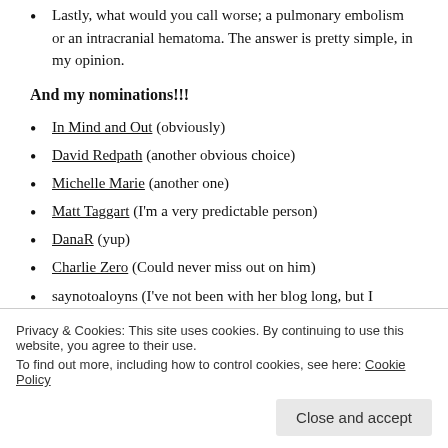Lastly, what would you call worse; a pulmonary embolism or an intracranial hematoma. The answer is pretty simple, in my opinion.
And my nominations!!!
In Mind and Out (obviously)
David Redpath (another obvious choice)
Michelle Marie (another one)
Matt Taggart (I'm a very predictable person)
DanaR (yup)
Charlie Zero (Could never miss out on him)
saynotoaloyns (I've not been with her blog long, but I
Privacy & Cookies: This site uses cookies. By continuing to use this website, you agree to their use. To find out more, including how to control cookies, see here: Cookie Policy
Close and accept